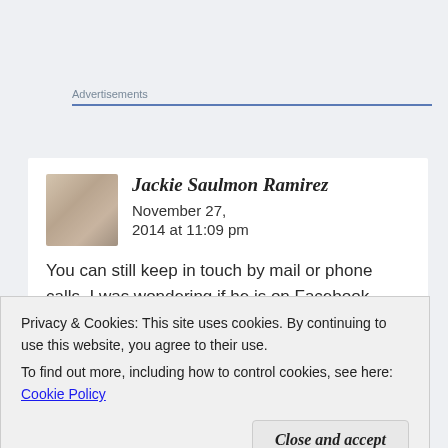Advertisements
Jackie Saulmon Ramirez   November 27, 2014 at 11:09 pm
You can still keep in touch by mail or phone calls. I was wondering if he is on Facebook…
What is it with people who must always assign
Privacy & Cookies: This site uses cookies. By continuing to use this website, you agree to their use.
To find out more, including how to control cookies, see here: Cookie Policy
Close and accept